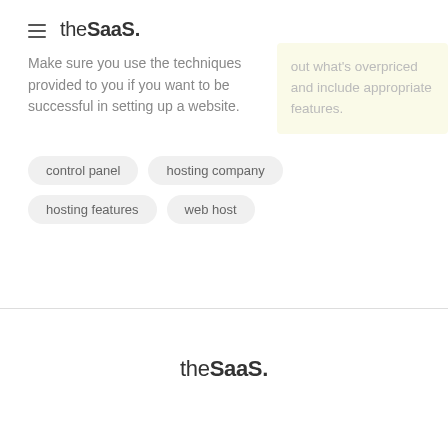theSaaS.
Make sure you use the techniques provided to you if you want to be successful in setting up a website.
out what's overpriced and include appropriate features.
control panel
hosting company
hosting features
web host
theSaaS.